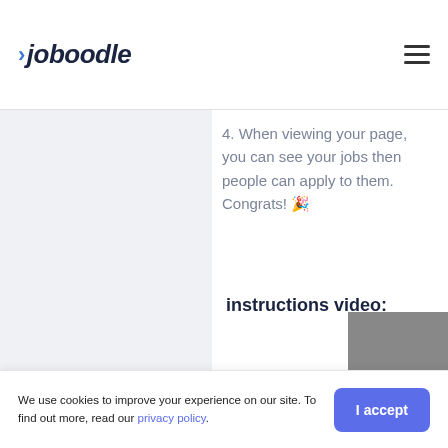joboodle
4. When viewing your page, you can see your jobs then people can apply to them. Congrats! 🎉
instructions video:
We use cookies to improve your experience on our site. To find out more, read our privacy policy.
I accept